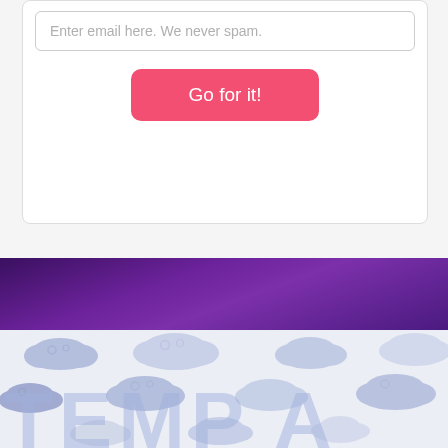Enter email here. We never spam.
Go for it!
[Figure (illustration): Purple gradient banner strip]
[Figure (illustration): Cloud pattern background with large semi-transparent letters 'TEMP A...' at the bottom]